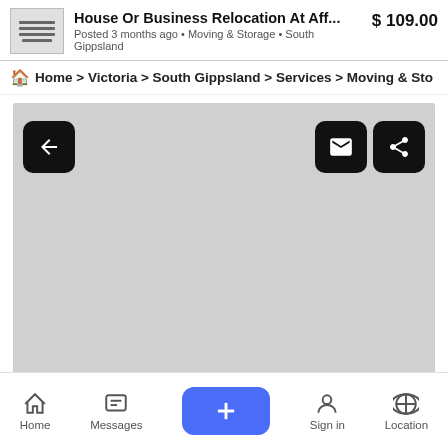House Or Business Relocation At Aff... $ 109.00
Posted 3 months ago • Moving & Storage • South Gippsland
🏠 Home > Victoria > South Gippsland > Services > Moving & Sto
[Figure (screenshot): Gray image placeholder area with navigation buttons: back arrow (left), envelope and share icons (right)]
Home   Messages   +   Sign in   Location